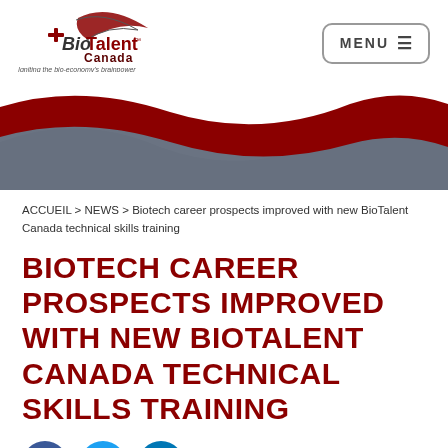[Figure (logo): BioTalent Canada logo with tagline 'Igniting the bio-economy's brainpower']
[Figure (infographic): Decorative wave banner with red, dark grey, and light grey wave layers]
ACCUEIL > NEWS > Biotech career prospects improved with new BioTalent Canada technical skills training
BIOTECH CAREER PROSPECTS IMPROVED WITH NEW BIOTALENT CANADA TECHNICAL SKILLS TRAINING
[Figure (infographic): Social media share icons: Facebook (blue circle with f), Twitter (light blue circle with bird), LinkedIn (teal circle with in)]